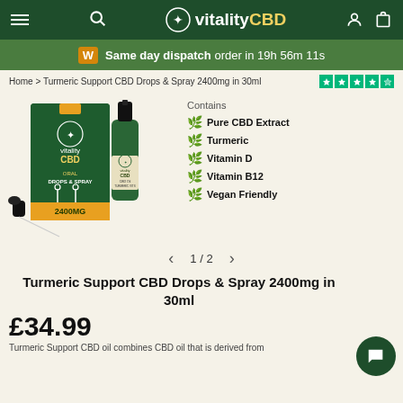vitality CBD — navigation bar with menu, search, account, cart icons
Same day dispatch order in 19h 56m 11s
Home > Turmeric Support CBD Drops & Spray 2400mg in 30ml
[Figure (photo): Product photo of Turmeric Support CBD Drops & Spray 2400mg in 30ml — green box with gold accents showing vitality CBD branding, alongside a green dropper bottle. A dropper applicator is shown in the foreground.]
Pure CBD Extract
Turmeric
Vitamin D
Vitamin B12
Vegan Friendly
1 / 2
Turmeric Support CBD Drops & Spray 2400mg in 30ml
£34.99
Turmeric Support CBD oil combines CBD oil that is derived from